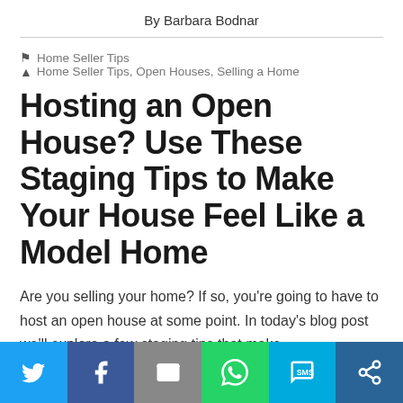By Barbara Bodnar
Home Seller Tips   Home Seller Tips, Open Houses, Selling a Home
Hosting an Open House? Use These Staging Tips to Make Your House Feel Like a Model Home
Are you selling your home? If so, you're going to have to host an open house at some point. In today's blog post we'll explore a few staging tips that make